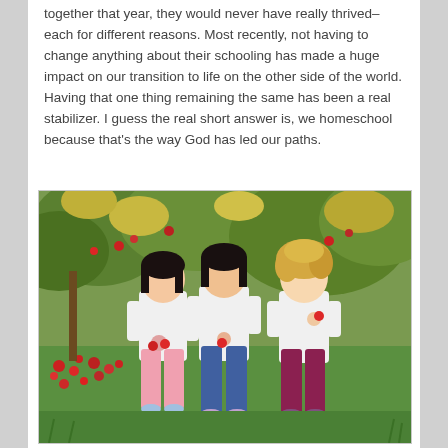together that year, they would never have really thrived–each for different reasons. Most recently, not having to change anything about their schooling has made a huge impact on our transition to life on the other side of the world. Having that one thing remaining the same has been a real stabilizer. I guess the real short answer is, we homeschool because that's the way God has led our paths.
[Figure (photo): Three young girls standing in an apple orchard. The two girls on the left have dark hair and East Asian features, wearing white long-sleeve shirts. The leftmost girl holds red apples and wears pink pants. The middle girl wears jeans. The girl on the right has curly blonde hair, wearing a white shirt and dark pink/maroon pants, appearing to eat an apple. Red apples are visible on the ground and trees behind them.]